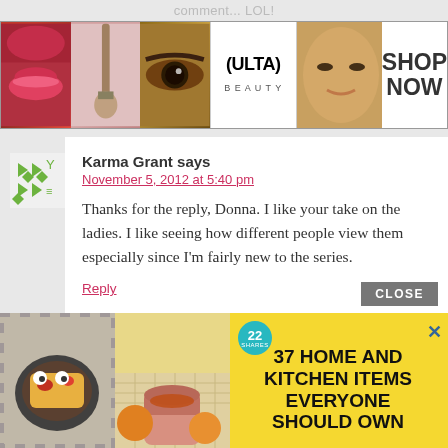comment... LOL!
[Figure (advertisement): ULTA Beauty advertisement banner with makeup images (lips, brush, eye) and ULTA logo with SHOP NOW text]
[Figure (illustration): Green decorative avatar/icon for commenter Karma Grant]
Karma Grant says
November 5, 2012 at 5:40 pm
Thanks for the reply, Donna. I like your take on the ladies. I like seeing how different people view them especially since I'm fairly new to the series.
Reply
CLOSE
[Figure (advertisement): Yellow advertisement banner showing food and kitchen items photos with text '37 HOME AND KITCHEN ITEMS EVERYONE SHOULD OWN']